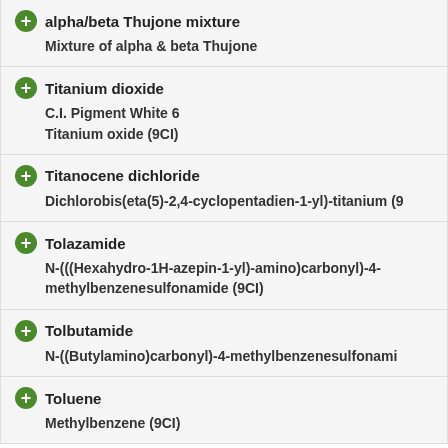alpha/beta Thujone mixture
Mixture of alpha & beta Thujone
Titanium dioxide
C.I. Pigment White 6
Titanium oxide (9CI)
Titanocene dichloride
Dichlorobis(eta(5)-2,4-cyclopentadien-1-yl)-titanium (9...
Tolazamide
N-(((Hexahydro-1H-azepin-1-yl)-amino)carbonyl)-4-methylbenzenesulfonamide (9CI)
Tolbutamide
N-((Butylamino)carbonyl)-4-methylbenzenesulfonamide...
Toluene
Methylbenzene (9CI)